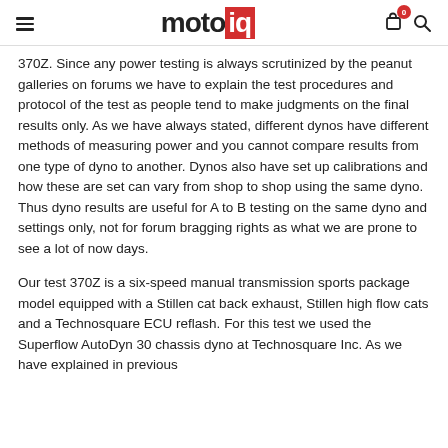motoiq
370Z.  Since any power testing is always scrutinized by the peanut galleries on forums we have to explain the test procedures and protocol of the test as people tend to make judgments on the final results only.  As we have always stated, different dynos have different methods of measuring power and you cannot compare results from one type of dyno to another. Dynos also have set up calibrations and how these are set can vary from shop to shop using the same dyno.  Thus dyno results are useful for A to B testing on the same dyno and settings only, not for forum bragging rights as what we are prone to see a lot of now days.
Our test 370Z is a six-speed manual transmission sports package model equipped with a Stillen cat back exhaust, Stillen high flow cats and a Technosquare ECU reflash. For this test we used the Superflow AutoDyn 30 chassis dyno at Technosquare Inc.  As we have explained in previous